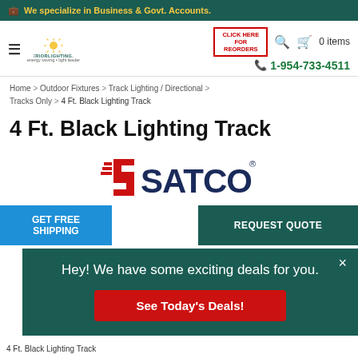We specialize in Business & Govt. Accounts.
[Figure (logo): SuperiorLighting.com logo with sun icon]
CLICK HERE FOR REORDERS
0 items
1-954-733-4511
Home > Outdoor Fixtures > Track Lighting / Directional > Tracks Only > 4 Ft. Black Lighting Track
4 Ft. Black Lighting Track
[Figure (logo): SATCO brand logo with red S graphic and dark blue SATCO wordmark]
GET FREE SHIPPING
REQUEST QUOTE
Hey! We have some exciting deals for you.
See Today's Deals!
4 Ft. Black Lighting Track